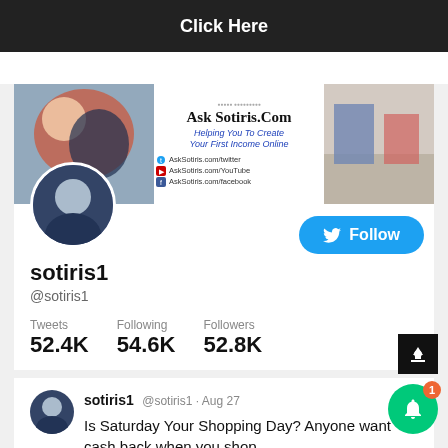[Figure (screenshot): Top banner with 'Click Here' text on dark background]
[Figure (screenshot): Twitter profile page for sotiris1 / @sotiris1. Shows profile banner with Ask Sotiris.Com branding, avatar, Follow button, stats: Tweets 52.4K, Following 54.6K, Followers 52.8K, and a tweet from @sotiris1 on Aug 27: 'Is Saturday Your Shopping Day? Anyone want cash back when you shop.']
sotiris1
@sotiris1
Tweets 52.4K
Following 54.6K
Followers 52.8K
sotiris1 @sotiris1 · Aug 27
Is Saturday Your Shopping Day? Anyone want cash back when you shop.